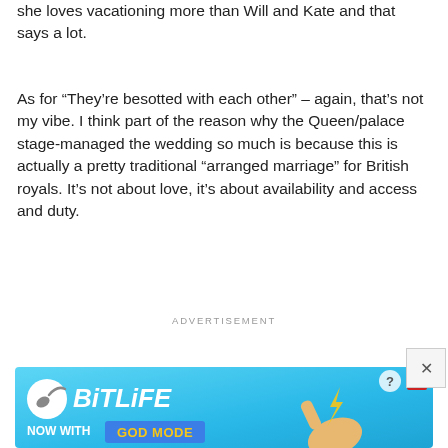she loves vacationing more than Will and Kate and that says a lot.
As for “They’re besotted with each other” – again, that’s not my vibe. I think part of the reason why the Queen/palace stage-managed the wedding so much is because this is actually a pretty traditional “arranged marriage” for British royals. It’s not about love, it’s about availability and access and duty.
ADVERTISEMENT
[Figure (other): BitLife game advertisement banner with blue background, BitLife logo, and 'NOW WITH GOD MODE' text with a pointing hand illustration. Has a close X button in upper right corner.]